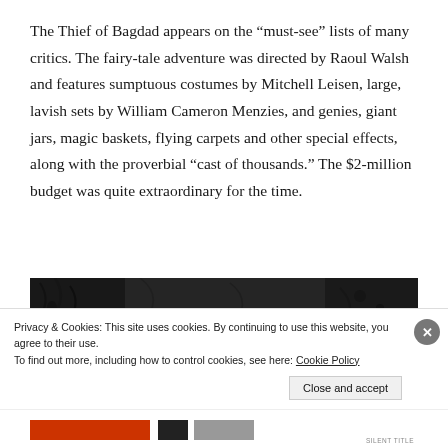The Thief of Bagdad appears on the “must-see” lists of many critics. The fairy-tale adventure was directed by Raoul Walsh and features sumptuous costumes by Mitchell Leisen, large, lavish sets by William Cameron Menzies, and genies, giant jars, magic baskets, flying carpets and other special effects, along with the proverbial “cast of thousands.” The $2-million budget was quite extraordinary for the time.
[Figure (photo): Black and white film still or promotional image, partially visible, showing dark decorative ironwork or foliage silhouettes against a dark background.]
Privacy & Cookies: This site uses cookies. By continuing to use this website, you agree to their use.
To find out more, including how to control cookies, see here: Cookie Policy